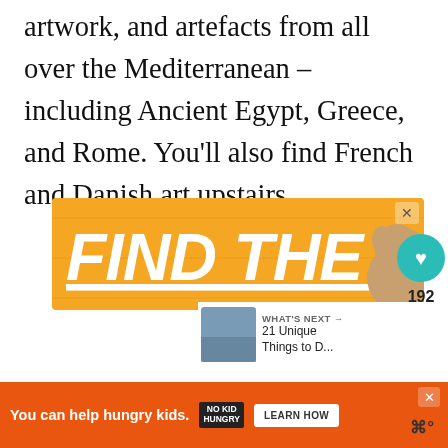artwork, and artefacts from all over the Mediterranean – including Ancient Egypt, Greece, and Rome. You'll also find French and Danish art upstairs.
[Figure (other): Advertisement banner with golden/orange background reading 'FIND THE ONE' in large bold italic white underlined text with a dog image on the right and a close button]
[Figure (infographic): Social sidebar UI with teal heart button, count of 192, and share button]
[Figure (other): What's Next widget showing a landscape thumbnail and text '21 Unique Things to D...']
[Figure (other): Bottom advertisement banner in orange reading 'You can help hungry kids.' with No Kid Hungry logo and Learn How button]